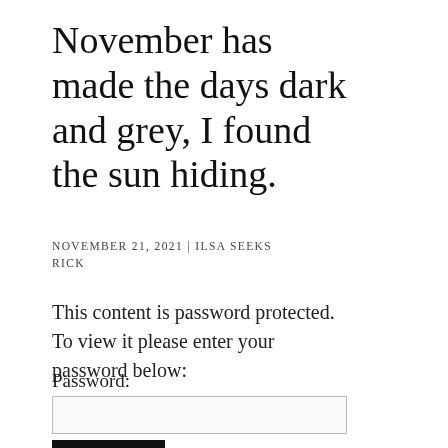November has made the days dark and grey, I found the sun hiding.
NOVEMBER 21, 2021 | ILSA SEEKS RICK
This content is password protected. To view it please enter your password below:
Password: